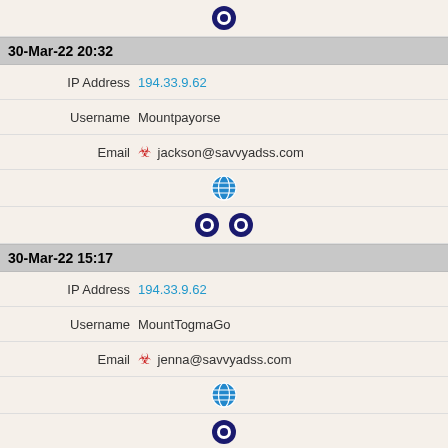[Figure (other): Tor onion icon row (single icon)]
30-Mar-22 20:32
| IP Address | 194.33.9.62 |
| Username | Mountpayorse |
| Email | 🔴 jackson@savvyadss.com |
[Figure (other): Globe icon row]
[Figure (other): Two Tor onion icons row]
30-Mar-22 15:17
| IP Address | 194.33.9.62 |
| Username | MountTogmaGo |
| Email | 🔴 jenna@savvyadss.com |
[Figure (other): Globe icon row]
[Figure (other): Single Tor onion icon row]
30-Mar-22 07:55
| IP Address | 194.33.9.62 |
| Username | Mountancewip |
| Email | 🔴 jenna@savvyadss.com |